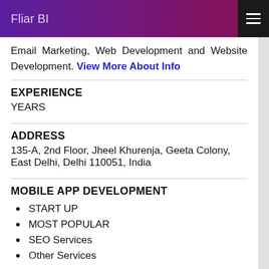Fliar BI
Email Marketing, Web Development and Website Development. View More About Info
EXPERIENCE
YEARS
ADDRESS
135-A, 2nd Floor, Jheel Khurenja, Geeta Colony, East Delhi, Delhi 110051, India
MOBILE APP DEVELOPMENT
START UP
MOST POPULAR
SEO Services
Other Services